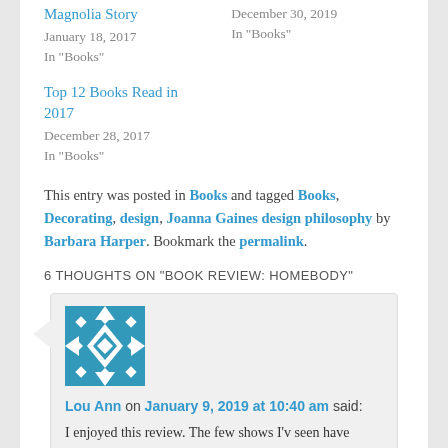Magnolia Story
January 18, 2017
In "Books"
December 30, 2019
In "Books"
Top 12 Books Read in 2017
December 28, 2017
In "Books"
This entry was posted in Books and tagged Books, Decorating, design, Joanna Gaines design philosophy by Barbara Harper. Bookmark the permalink.
6 THOUGHTS ON "BOOK REVIEW: HOMEBODY"
Lou Ann on January 9, 2019 at 10:40 am said:
I enjoyed this review. The few shows I'v seen have